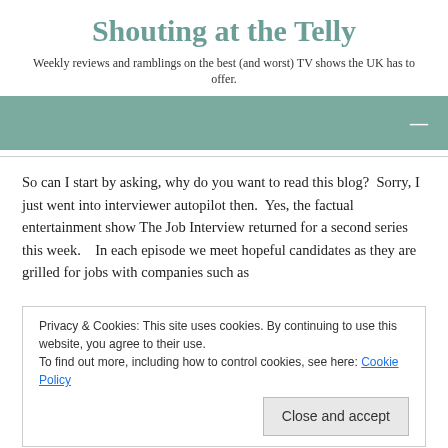Shouting at the Telly
Weekly reviews and ramblings on the best (and worst) TV shows the UK has to offer.
[Figure (other): Teal/muted green navigation bar with a hamburger/menu icon (dash) on the right side.]
So can I start by asking, why do you want to read this blog?  Sorry, I just went into interviewer autopilot then.  Yes, the factual entertainment show The Job Interview returned for a second series this week.   In each episode we meet hopeful candidates as they are grilled for jobs with companies such as
Privacy & Cookies: This site uses cookies. By continuing to use this website, you agree to their use.
To find out more, including how to control cookies, see here: Cookie Policy
Close and accept
Like this: